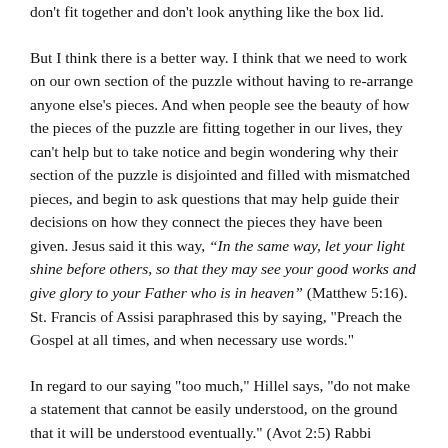don't fit together and don't look anything like the box lid.
But I think there is a better way. I think that we need to work on our own section of the puzzle without having to re-arrange anyone else's pieces. And when people see the beauty of how the pieces of the puzzle are fitting together in our lives, they can't help but to take notice and begin wondering why their section of the puzzle is disjointed and filled with mismatched pieces, and begin to ask questions that may help guide their decisions on how they connect the pieces they have been given. Jesus said it this way, “In the same way, let your light shine before others, so that they may see your good works and give glory to your Father who is in heaven” (Matthew 5:16). St. Francis of Assisi paraphrased this by saying, "Preach the Gospel at all times, and when necessary use words."
In regard to our saying "too much," Hillel says, "do not make a statement that cannot be easily understood, on the ground that it will be understood eventually." (Avot 2:5) Rabbi Abraham Twerski, in